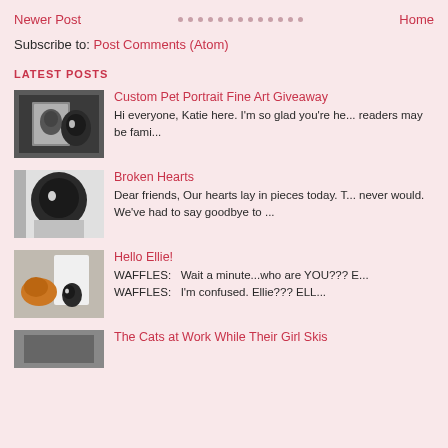Newer Post · · · · · · · · · · · · · · · · Home
Subscribe to: Post Comments (Atom)
LATEST POSTS
[Figure (photo): Black and white cat looking at a framed portrait of a cat on a wall]
Custom Pet Portrait Fine Art Giveaway
Hi everyone, Katie here. I'm so glad you're he... readers may be fami...
[Figure (photo): Black and white cat sitting on a surface, looking to the side]
Broken Hearts
Dear friends, Our hearts lay in pieces today. T... never would. We've had to say goodbye to ...
[Figure (photo): Two cats: an orange cat and a small black and white cat near a white object]
Hello Ellie!
WAFFLES:   Wait a minute...who are YOU??? E... WAFFLES:   I'm confused. Ellie??? ELL...
[Figure (photo): Partially visible: cats at work scene]
The Cats at Work While Their Girl Skis